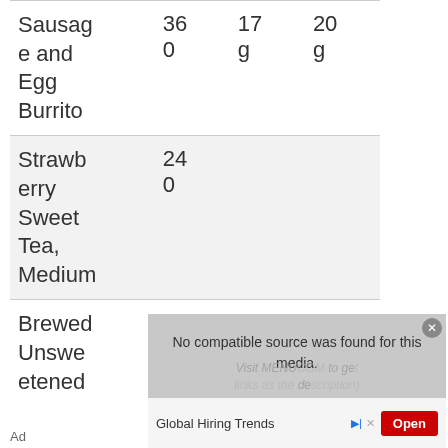| Item | Cal | Fat | Carb |
| --- | --- | --- | --- |
| Sausage and Egg Burrito | 360 | 17g | 20g |
| Strawberry Sweet Tea, Medium | 240 |  |  |
| Brewed Unsweetened |  |  |  |
[Figure (screenshot): Video player overlay showing 'No compatible source was found for this media.' with a watermark text 'Visit MENUCOM to get links as the description)']
Global Hiring Trends
Ad